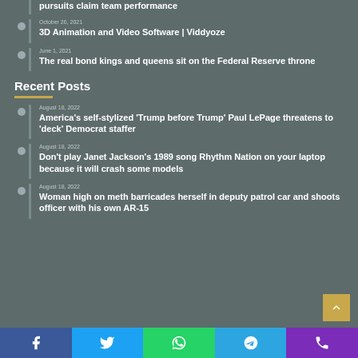pursuits claim team performance
October 26, 2021 — 3D Animation and Video Software | Viddyoze
June 1, 2021 — The real bond kings and queens sit on the Federal Reserve throne
Recent Posts
August 18, 2022 — America's self-stylized 'Trump before Trump' Paul LePage threatens to 'deck' Democrat staffer
August 18, 2022 — Don't play Janet Jackson's 1989 song Rhythm Nation on your laptop because it will crash some models
August 18, 2022 — Woman high on meth barricades herself in deputy patrol car and shoots officer with his own AR-15
Facebook | Twitter | WhatsApp | Telegram | Phone